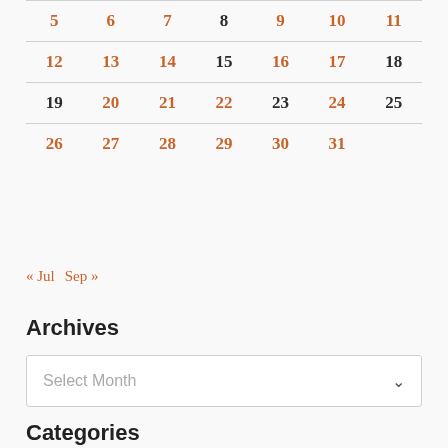| 5 | 6 | 7 | 8 | 9 | 10 | 11 |
| 12 | 13 | 14 | 15 | 16 | 17 | 18 |
| 19 | 20 | 21 | 22 | 23 | 24 | 25 |
| 26 | 27 | 28 | 29 | 30 | 31 |  |
« Jul  Sep »
Archives
Select Month
Categories